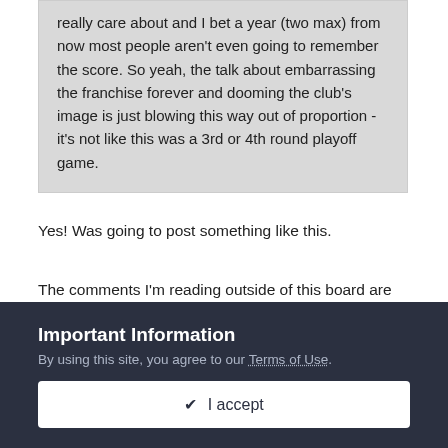really care about and I bet a year (two max) from now most people aren't even going to remember the score. So yeah, the talk about embarrassing the franchise forever and dooming the club's image is just blowing this way out of proportion - it's not like this was a 3rd or 4th round playoff game.
Yes! Was going to post something like this.
The comments I'm reading outside of this board are mostly about how there's too many outdoor games. If they are directed at the Devils it's "Marty should retire" or something along those lines.
Important Information
By using this site, you agree to our Terms of Use.
✔ I accept